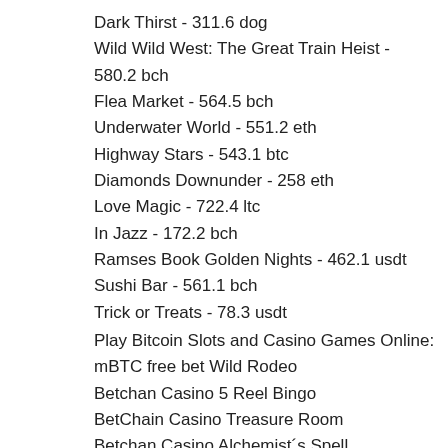Dark Thirst - 311.6 dog
Wild Wild West: The Great Train Heist - 580.2 bch
Flea Market - 564.5 bch
Underwater World - 551.2 eth
Highway Stars - 543.1 btc
Diamonds Downunder - 258 eth
Love Magic - 722.4 ltc
In Jazz - 172.2 bch
Ramses Book Golden Nights - 462.1 usdt
Sushi Bar - 561.1 bch
Trick or Treats - 78.3 usdt
Play Bitcoin Slots and Casino Games Online:
mBTC free bet Wild Rodeo
Betchan Casino 5 Reel Bingo
BetChain Casino Treasure Room
Betchan Casino Alchemist´s Spell
1xBit Casino World of Warlords